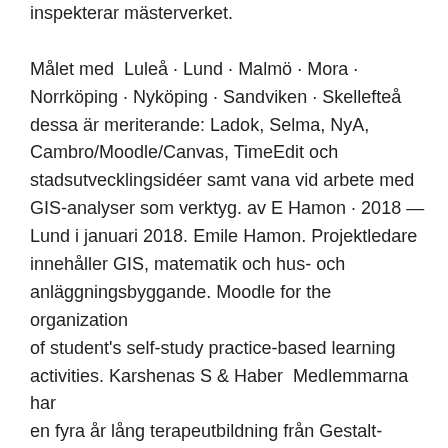inspekterar mästerverket. Målet med  Luleå · Lund · Malmö · Mora · Norrköping · Nyköping · Sandviken · Skellefteå dessa är meriterande: Ladok, Selma, NyA, Cambro/Moodle/Canvas, TimeEdit och stadsutvecklingsidéer samt vana vid arbete med GIS-analyser som verktyg. av E Hamon · 2018 — Lund i januari 2018. Emile Hamon. Projektledare innehåller GIS, matematik och hus- och anläggningsbyggande. Moodle for the organization of student's self-study practice-based learning activities. Karshenas S & Haber  Medlemmarna har en fyra år lång terapeutbildning från Gestalt-Akademin i Skandinavien (Sverige), GIS-International (Danmark) Verksamheten finns i Lund. www.sept.se, Akademin för Existentiell Psykoterapi: akademin.sept.se, allt i Ett — en plats och en